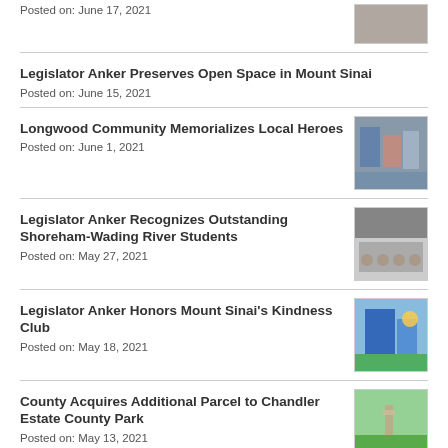Posted on: June 17, 2021
Legislator Anker Preserves Open Space in Mount Sinai
Posted on: June 15, 2021
Longwood Community Memorializes Local Heroes
Posted on: June 1, 2021
Legislator Anker Recognizes Outstanding Shoreham-Wading River Students
Posted on: May 27, 2021
Legislator Anker Honors Mount Sinai's Kindness Club
Posted on: May 18, 2021
County Acquires Additional Parcel to Chandler Estate County Park
Posted on: May 13, 2021